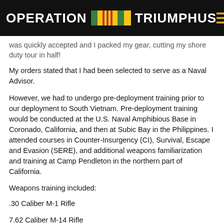OPERATION TRIUMPHUS
was quickly accepted and I packed my gear, cutting my shore duty tour in half!
My orders stated that I had been selected to serve as a Naval Advisor.
However, we had to undergo pre-deployment training prior to our deployment to South Vietnam. Pre-deployment training would be conducted at the U.S. Naval Amphibious Base in Coronado, California, and then at Subic Bay in the Philippines. I attended courses in Counter-Insurgency (CI), Survival, Escape and Evasion (SERE), and additional weapons familiarization and training at Camp Pendleton in the northern part of California.
Weapons training included:
.30 Caliber M-1 Rifle
7.62 Caliber M-14 Rifle
Browning Automatic Rifle (BAR)